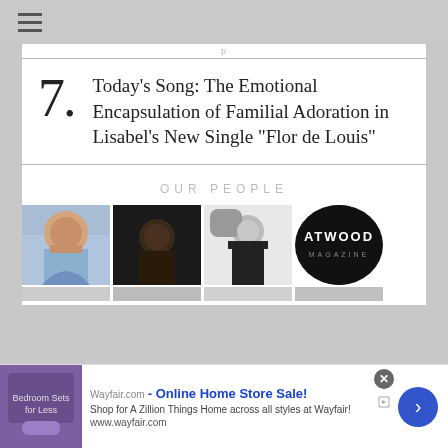≡
p
7. Today's Song: The Emotional Encapsulation of Familial Adoration in Lisabel's New Single "Flor de Louis"
OUR PEOPLE
[Figure (photo): Four thumbnail images showing people and a magazine logo under 'OUR PEOPLE' section]
[Figure (screenshot): Wayfair advertisement banner: 'Wayfair.com - Online Home Store Sale! Shop for A Zillion Things Home across all styles at Wayfair! www.wayfair.com']